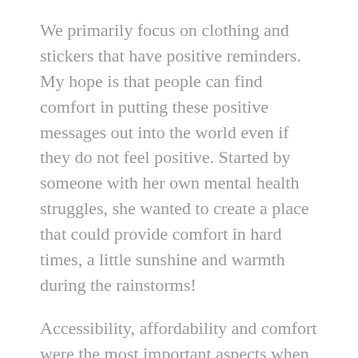We primarily focus on clothing and stickers that have positive reminders. My hope is that people can find comfort in putting these positive messages out into the world even if they do not feel positive. Started by someone with her own mental health struggles, she wanted to create a place that could provide comfort in hard times, a little sunshine and warmth during the rainstorms!
Accessibility, affordability and comfort were the most important aspects when creating My Pocket of Sunshine. We wanted it to be comfortable for days when it was hard to leave bed, accessible and affordable for whoever wanted them, and we wanted them to be honest about mental health and the struggles that so many people deal with. Most of all, we wanted people to feel a little less alone and to feel comfortable even when things are scary